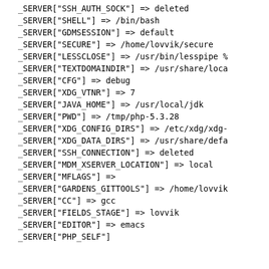_SERVER["SSH_AUTH_SOCK"] => deleted
_SERVER["SHELL"] => /bin/bash
_SERVER["GDMSESSION"] => default
_SERVER["SECURE"] => /home/lovvik/secure
_SERVER["LESSCLOSE"] => /usr/bin/lesspipe %
_SERVER["TEXTDOMAINDIR"] => /usr/share/loca
_SERVER["CFG"] => debug
_SERVER["XDG_VTNR"] => 7
_SERVER["JAVA_HOME"] => /usr/local/jdk
_SERVER["PWD"] => /tmp/php-5.3.28
_SERVER["XDG_CONFIG_DIRS"] => /etc/xdg/xdg-
_SERVER["XDG_DATA_DIRS"] => /usr/share/defa
_SERVER["SSH_CONNECTION"] => deleted
_SERVER["MDM_XSERVER_LOCATION"] => local
_SERVER["MFLAGS"] =>
_SERVER["GARDENS_GITTOOLS"] => /home/lovvik
_SERVER["CC"] => gcc
_SERVER["FIELDS_STAGE"] => lovvik
_SERVER["EDITOR"] => emacs
_SERVER["PHP_SELF"]